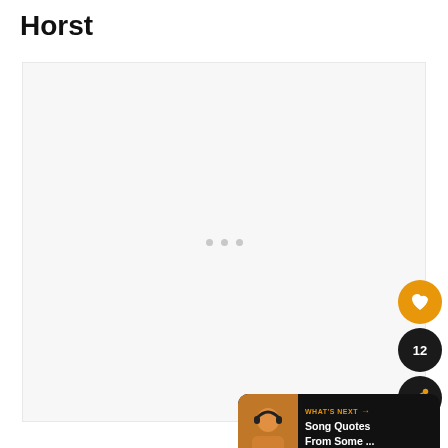Horst
[Figure (screenshot): A large light gray/white content area with three small gray dots centered in the lower-middle portion, indicating a loading or carousel state. On the right side there is an orange heart button, a dark pill showing '12', and a dark share button. In the bottom-right corner is a 'What's Next' banner with a thumbnail of a person wearing headphones and text 'Song Quotes From Some ...']